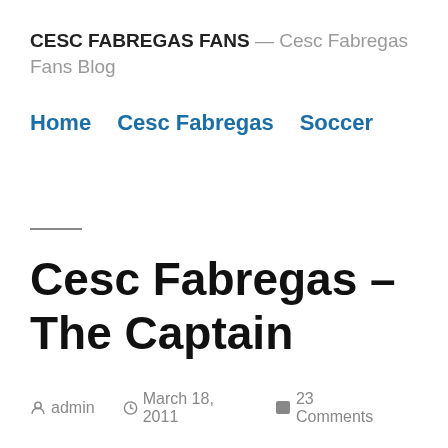CESC FABREGAS FANS — Cesc Fabregas Fans Blog
Home   Cesc Fabregas   Soccer
Cesc Fabregas – The Captain
admin   March 18, 2011   23 Comments